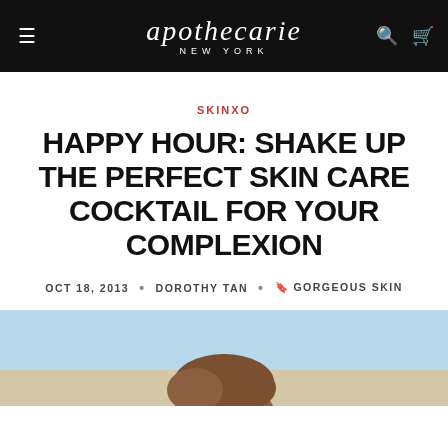apothecarie NEW YORK
SKINXO
HAPPY HOUR: SHAKE UP THE PERFECT SKIN CARE COCKTAIL FOR YOUR COMPLEXION
OCT 18, 2013 · DOROTHY TAN · GORGEOUS SKIN
[Figure (photo): Partial view of a person's face and hair against a light blue sky background, cropped at the bottom of the page]